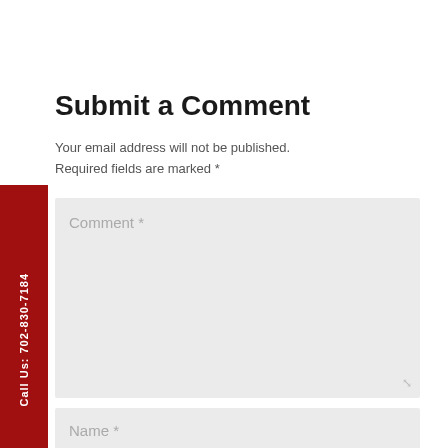Submit a Comment
Your email address will not be published. Required fields are marked *
[Figure (screenshot): Comment form with textarea placeholder 'Comment *', Name field, and a third field partially visible at bottom. A red vertical call-to-action tab reads 'Call Us: 702-830-7184' on the left side.]